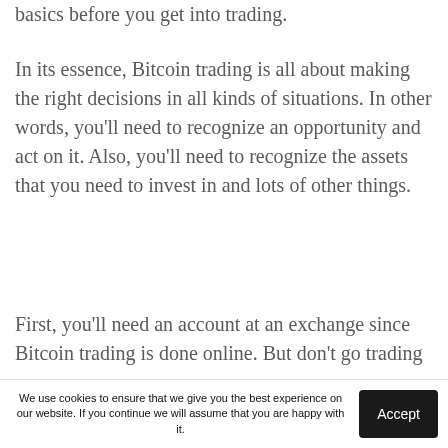basics before you get into trading.
In its essence, Bitcoin trading is all about making the right decisions in all kinds of situations. In other words, you'll need to recognize an opportunity and act on it. Also, you'll need to recognize the assets that you need to invest in and lots of other things.
First, you'll need an account at an exchange since Bitcoin trading is done online. But don't go trading
We use cookies to ensure that we give you the best experience on our website. If you continue we will assume that you are happy with it.